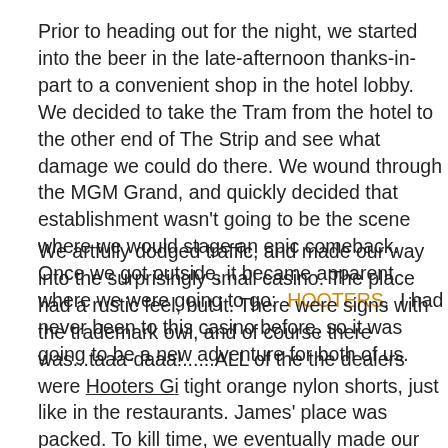Prior to heading out for the night, we started into the beer in the late-afternoon thanks-in-part to a convenient shop in the hotel lobby. We decided to take the Tram from the hotel to the other end of The Strip and see what damage we could do there. We wound through the MGM Grand, and quickly decided that establishment wasn't going to be the scene where we would stage an epic comeback. Once we got outside, it became apparent where we were going to go:  HOOTERS.  I had never been to this casino before, so it was going to be a new adventure for both of us.
We artfully dodged traffic, and made our way into the surprisingly small casino. The place had a rustic feel, but it. There were signs with the trademark owl, and of course the was...taaa-daaa!......ALL of the the dealers were Hooters G tight orange nylon shorts, just like in the restaurants. James place was packed. To kill time, we eventually made our way Players Card. This entitled us to a bunch of free plays at th "special" slot machines for a chance of winning big on them they sucker into it... we did not win.